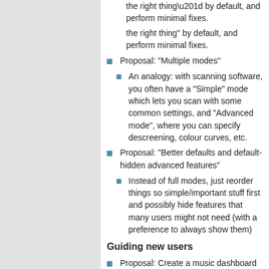the right thing” by default, and perform minimal fixes.
Proposal: “Multiple modes”
An analogy: with scanning software, you often have a “Simple” mode which lets you scan with some common settings, and “Advanced mode”, where you can specify descreening, colour curves, etc.
Proposal: “Better defaults and default-hidden advanced features”
Instead of full modes, just reorder things so simple/important stuff first and possibly hide features that many users might not need (with a preference to always show them)
Guiding new users
Proposal: Create a music dashboard that lists new users that need help
Proposal: Create multiple